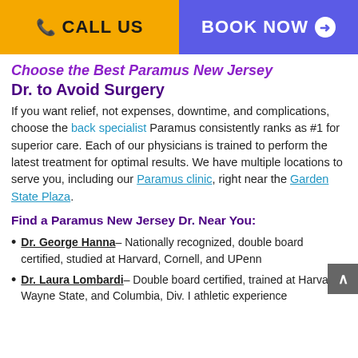CALL US | BOOK NOW
Choose the Best Paramus New Jersey Dr. to Avoid Surgery
If you want relief, not expenses, downtime, and complications, choose the back specialist Paramus consistently ranks as #1 for superior care. Each of our physicians is trained to perform the latest treatment for optimal results. We have multiple locations to serve you, including our Paramus clinic, right near the Garden State Plaza.
Find a Paramus New Jersey Dr. Near You:
Dr. George Hanna– Nationally recognized, double board certified, studied at Harvard, Cornell, and UPenn
Dr. Laura Lombardi– Double board certified, trained at Harvard, Wayne State, and Columbia, Div. I athletic experience